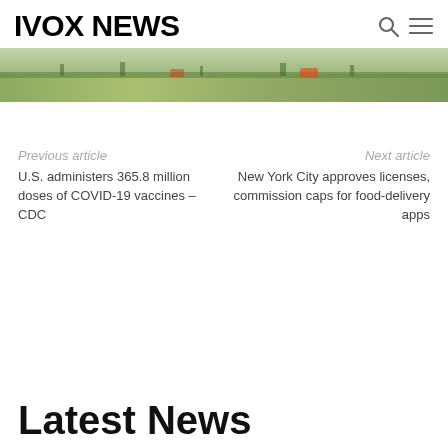IVOX NEWS
[Figure (photo): Outdoor scene with greenery, vehicles or field visible in the background – cropped strip image at top of page]
Previous article
U.S. administers 365.8 million doses of COVID-19 vaccines – CDC
Next article
New York City approves licenses, commission caps for food-delivery apps
Latest News